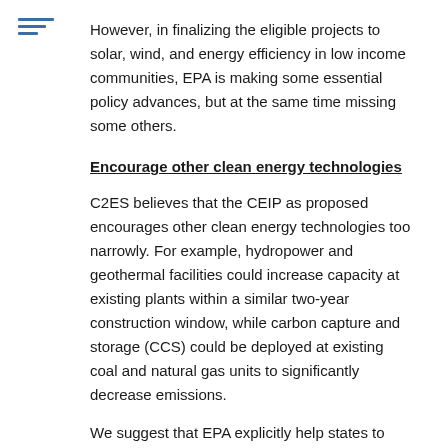[Figure (other): Hamburger/menu icon made of three horizontal blue lines]
However, in finalizing the eligible projects to solar, wind, and energy efficiency in low income communities, EPA is making some essential policy advances, but at the same time missing some others.
Encourage other clean energy technologies
C2ES believes that the CEIP as proposed encourages other clean energy technologies too narrowly. For example, hydropower and geothermal facilities could increase capacity at existing plants within a similar two-year construction window, while carbon capture and storage (CCS) could be deployed at existing coal and natural gas units to significantly decrease emissions.
We suggest that EPA explicitly help states to understand and use the flexibility they have in their overall state-wide